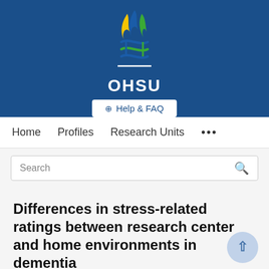[Figure (logo): OHSU (Oregon Health & Science University) logo with flame/DNA helix design in blue, green and gold, on a dark blue banner background, with the text OHSU below]
[Figure (other): Help & FAQ button with globe icon, white on dark blue background]
Home   Profiles   Research Units   ...
Search
Differences in stress-related ratings between research center and home environments in dementia